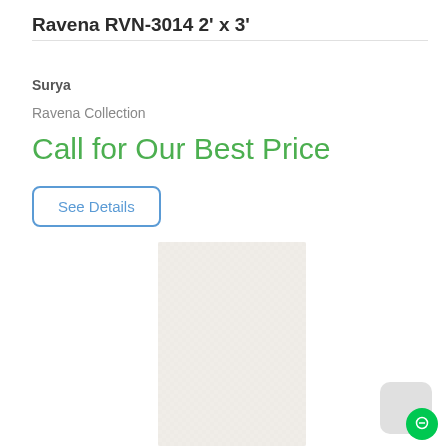Ravena RVN-3014 2' x 3'
Surya
Ravena Collection
Call for Our Best Price
See Details
[Figure (photo): Product photo of Ravena RVN-3014 rug, showing a light cream/off-white rectangular rug with subtle texture pattern against a white background]